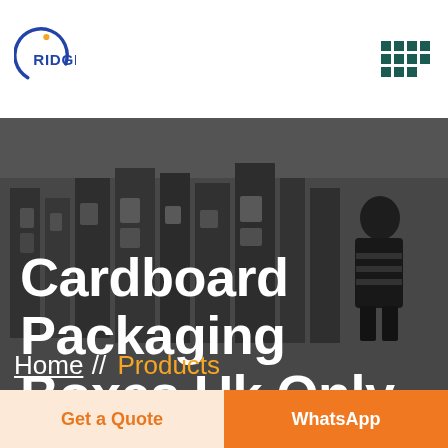[Figure (logo): Ridge company logo with circular arc and star, blue color]
[Figure (other): Dark teal 4x3 grid of square dots forming menu icon]
[Figure (photo): Warehouse/factory interior showing machinery and equipment, darkened overlay]
Cardboard Packaging Boxes Uk Only Ebay
Home // Products
Get a Quote
WhatsApp